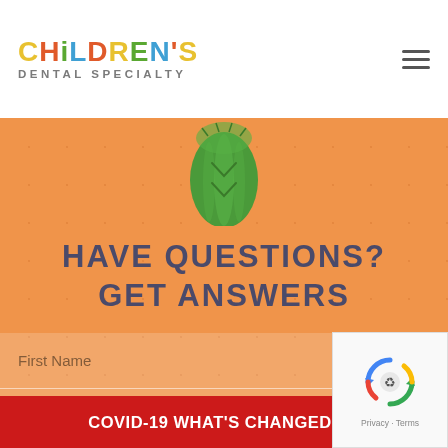[Figure (logo): Children's Dental Specialty logo with colorful letters and grey subtitle text]
[Figure (illustration): Green cactus illustration on orange dotted background]
HAVE QUESTIONS? GET ANSWERS
First Name
Last Name
Email
Phone Number
COVID-19 WHAT'S CHANGED
[Figure (other): reCAPTCHA widget with recycle-arrows icon and Privacy · Terms text]